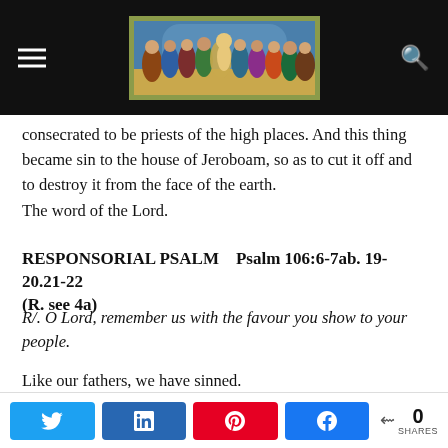[Figure (illustration): Website header bar with hamburger menu icon on left, a colorful painting of The Last Supper as the site logo in the center, and a search icon on the right, all on a dark background.]
consecrated to be priests of the high places. And this thing became sin to the house of Jeroboam, so as to cut it off and to destroy it from the face of the earth.
The word of the Lord.
RESPONSORIAL PSALM    Psalm 106:6-7ab. 19-20.21-22
(R. see 4a)
R/. O Lord, remember us with the favour you show to your people.
Like our fathers, we have sinned.
We have done wrong; our deeds have been evil.
Our forebears, when they were in Egypt,
0 SHARES